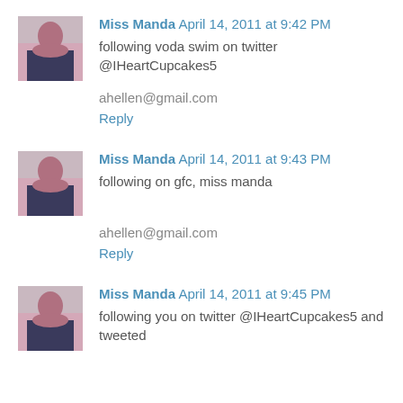Miss Manda April 14, 2011 at 9:42 PM
following voda swim on twitter @IHeartCupcakes5
ahellen@gmail.com
Reply
Miss Manda April 14, 2011 at 9:43 PM
following on gfc, miss manda
ahellen@gmail.com
Reply
Miss Manda April 14, 2011 at 9:45 PM
following you on twitter @IHeartCupcakes5 and tweeted